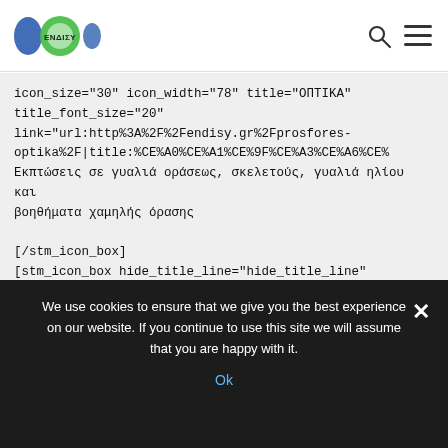ΕΝΔΙΣΥ logo with search and menu icons
icon_size="30" icon_width="78" title="ΟΠΤΙΚΑ"
title_font_size="20"
link="url:http%3A%2F%2Fendisy.gr%2Fprosfores-optika%2F|title:%CE%A0%CE%A1%CE%9F%CE%A3%CE%A6%CE%
Εκπτώσεις σε γυαλιά οράσεως, σκελετούς, γυαλιά ηλίου και βοηθήματα χαμηλής όρασης

[/stm_icon_box]
[stm_icon_box hide_title_line="hide_title_line"
enable_hexagon="enable" enable_hexagon_animation="enable"
add_link="enable" icon="fas fa-globe-africa" style="icon_left"
We use cookies to ensure that we give you the best experience on our website. If you continue to use this site we will assume that you are happy with it.
Ok